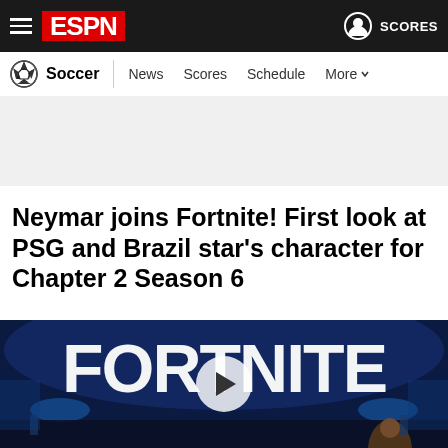ESPN - Soccer | News  Scores  Schedule  More
Neymar joins Fortnite! First look at PSG and Brazil star's character for Chapter 2 Season 6
[Figure (photo): Fortnite branded event stage with large 3D FORTNITE letters, blue lighting, video game displays, and a male person visible at the bottom right. A circular play button overlay is visible in the center.]